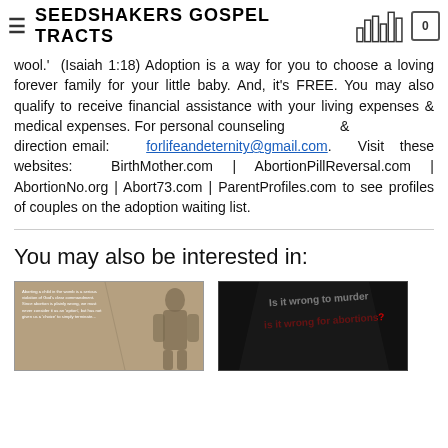≡ SEEDSHAKERS GOSPEL TRACTS [bar chart icon] 0
wool.'  (Isaiah 1:18) Adoption is a way for you to choose a loving forever family for your little baby. And, it's FREE. You may also qualify to receive financial assistance with your living expenses & medical expenses. For personal counseling & direction email: forlifeandeternity@gmail.com. Visit these websites: BirthMother.com | AbortionPillReversal.com | AbortionNo.org | Abort73.com | ParentProfiles.com to see profiles of couples on the adoption waiting list.
You may also be interested in:
[Figure (photo): Photo of a gospel tract with text about abortion being a serious violation of God's law, shown at an angle on a brown/tan background with a person silhouette visible]
[Figure (photo): Dark/black gospel tract with text 'Is it wrong to murder' and 'is it wrong for abortions?' shown at an angle on dark background]